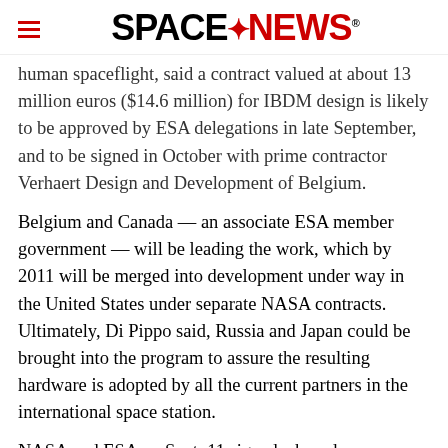SPACENEWS
human spaceflight, said a contract valued at about 13 million euros ($14.6 million) for IBDM design is likely to be approved by ESA delegations in late September, and to be signed in October with prime contractor Verhaert Design and Development of Belgium.
Belgium and Canada — an associate ESA member government — will be leading the work, which by 2011 will be merged into development under way in the United States under separate NASA contracts. Ultimately, Di Pippo said, Russia and Japan could be brought into the program to assure the resulting hardware is adopted by all the current partners in the international space station.
NASA and ESA on Sept. 11 signed a broad